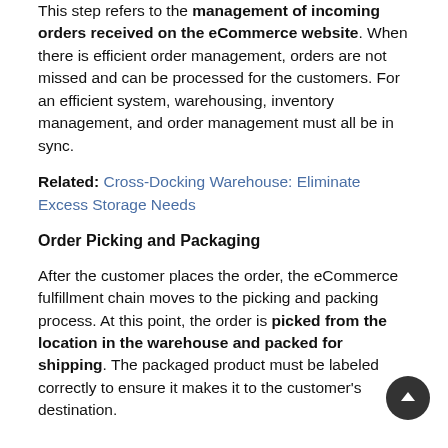This step refers to the management of incoming orders received on the eCommerce website. When there is efficient order management, orders are not missed and can be processed for the customers. For an efficient system, warehousing, inventory management, and order management must all be in sync.
Related: Cross-Docking Warehouse: Eliminate Excess Storage Needs
Order Picking and Packaging
After the customer places the order, the eCommerce fulfillment chain moves to the picking and packing process. At this point, the order is picked from the location in the warehouse and packed for shipping. The packaged product must be labeled correctly to ensure it makes it to the customer's destination.